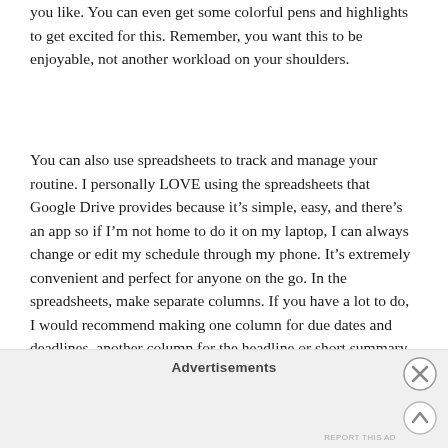you like. You can even get some colorful pens and highlights to get excited for this. Remember, you want this to be enjoyable, not another workload on your shoulders.
You can also use spreadsheets to track and manage your routine. I personally LOVE using the spreadsheets that Google Drive provides because it's simple, easy, and there's an app so if I'm not home to do it on my laptop, I can always change or edit my schedule through my phone. It's extremely convenient and perfect for anyone on the go. In the spreadsheets, make separate columns. If you have a lot to do, I would recommend making one column for due dates and deadlines, another column for the headline or short summary of the work you have to do, another column for the summary and details of the work you have to do, and in the last
Advertisements